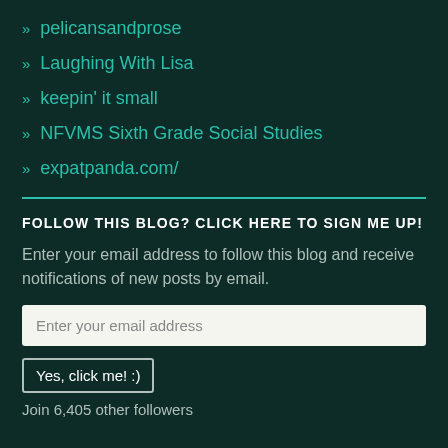» pelicansandprose
» Laughing With Lisa
» keepin' it small
» NFVMS Sixth Grade Social Studies
» expatpanda.com/
FOLLOW THIS BLOG? CLICK HERE TO SIGN ME UP!
Enter your email address to follow this blog and receive notifications of new posts by email.
Enter your email address
Yes, click me! :)
Join 6,405 other followers